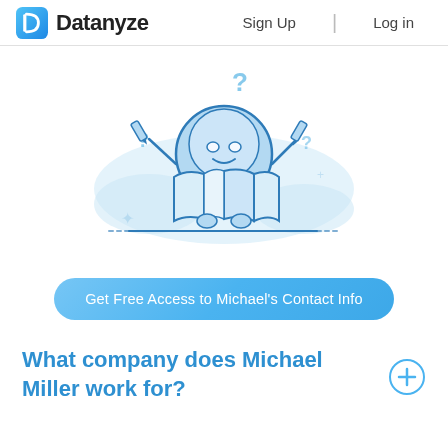Datanyze | Sign Up | Log in
[Figure (illustration): A cartoon robot/character holding open a large book or map, with question marks floating around it, sitting on a light blue cloud-like background.]
Get Free Access to Michael's Contact Info
What company does Michael Miller work for?